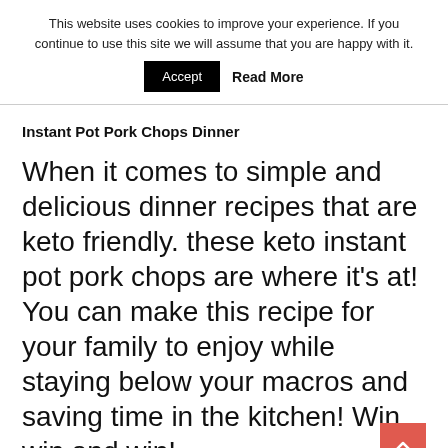This website uses cookies to improve your experience. If you continue to use this site we will assume that you are happy with it.
Accept   Read More
Instant Pot Pork Chops Dinner
When it comes to simple and delicious dinner recipes that are keto friendly. these keto instant pot pork chops are where it's at! You can make this recipe for your family to enjoy while staying below your macros and saving time in the kitchen! Win, win and win!